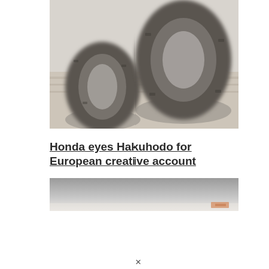[Figure (photo): Blurred photograph showing two large tractor or vehicle tires/wheels on what appears to be a wooden surface, with a light gray background.]
Honda eyes Hakuhodo for European creative account
[Figure (photo): Partially visible image with a gray upper band fading to white/light at the bottom, with a small orange/reddish element visible at the bottom right corner.]